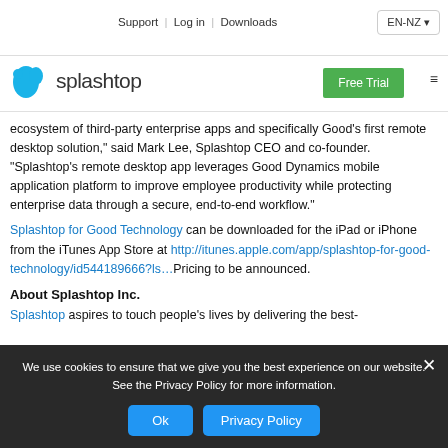Support | Log in | Downloads | EN-NZ
[Figure (logo): Splashtop logo with teal icon and text]
ecosystem of third-party enterprise apps and specifically Good’s first remote desktop solution,” said Mark Lee, Splashtop CEO and co-founder. “Splashtop’s remote desktop app leverages Good Dynamics mobile application platform to improve employee productivity while protecting enterprise data through a secure, end-to-end workflow.”
Splashtop for Good Technology can be downloaded for the iPad or iPhone from the iTunes App Store at http://itunes.apple.com/app/splashtop-for-good-technology/id544189666?ls…Pricing to be announced.
About Splashtop Inc.
Splashtop aspires to touch people’s lives by delivering the best-
We use cookies to ensure that we give you the best experience on our website. See the Privacy Policy for more information.